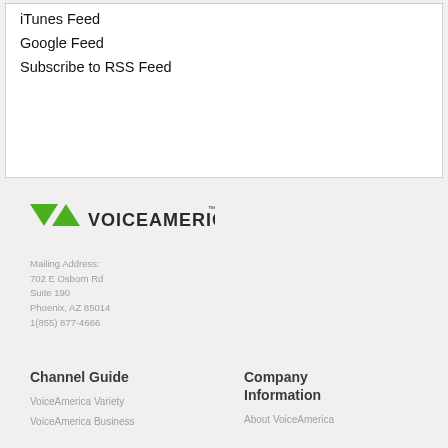iTunes Feed
Google Feed
Subscribe to RSS Feed
[Figure (logo): VoiceAmerica logo with green triangles and dark text]
Mailing Address:
702 E Osborn Rd
Suite 190
Phoenix, AZ 85014
1(855) 877-4666
Channel Guide
Company Information
VoiceAmerica Variety
VoiceAmerica Business
About VoiceAmerica